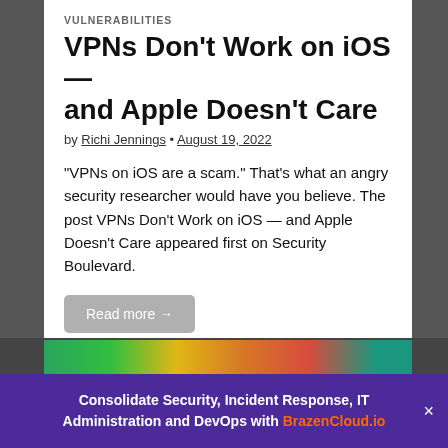VULNERABILITIES
VPNs Don’t Work on iOS — and Apple Doesn’t Care
by Richi Jennings • August 19, 2022
“VPNs on iOS are a scam.” That’s what an angry security researcher would have you believe. The post VPNs Don't Work on iOS — and Apple Doesn't Care appeared first on Security Boulevard.
Read more →
EUROPE, GLOBAL SECURITY NEWS, NORTH AMERICA
Building a modern API
Consolidate Security, Incident Response, IT Administration and DevOps with BrazenCloud.io